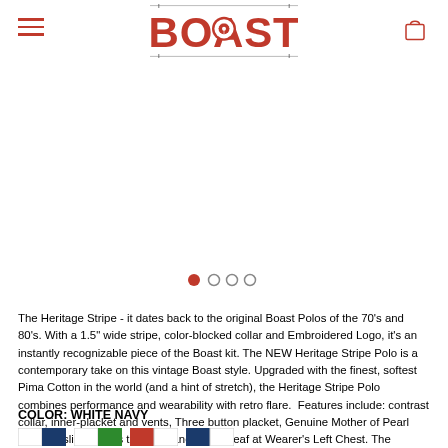[Figure (logo): BOAST brand logo in red block letters with a cannabis leaf in the center of the O, on a white background with gray border lines]
[Figure (infographic): Carousel navigation dots: one filled red dot and three empty circles]
The Heritage Stripe - it dates back to the original Boast Polos of the 70's and 80's. With a 1.5" wide stripe, color-blocked collar and Embroidered Logo, it's an instantly recognizable piece of the Boast kit. The NEW Heritage Stripe Polo is a contemporary take on this vintage Boast style. Upgraded with the finest, softest Pima Cotton in the world (and a hint of stretch), the Heritage Stripe Polo combines performance and wearability with retro flare.  Features include: contrast collar, inner-placket and vents, Three button placket, Genuine Mother of Pearl Buttons, slight tennis tail hem, and Boast Leaf at Wearer's Left Chest. The Heritage Stripe Polo is a classic fit - not too boxy, not too trim.
COLOR: WHITE NAVY
[Figure (illustration): Color swatch options for the polo shirt: white/navy, white/green, red/white, navy/white]